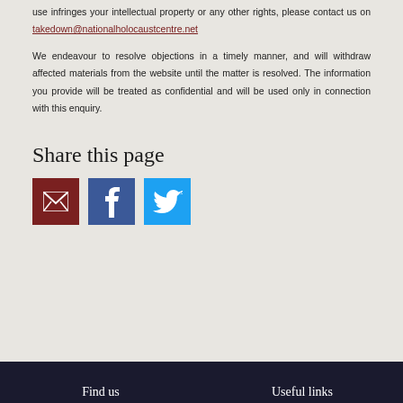use infringes your intellectual property or any other rights, please contact us on takedown@nationalholocaustcentre.net
We endeavour to resolve objections in a timely manner, and will withdraw affected materials from the website until the matter is resolved. The information you provide will be treated as confidential and will be used only in connection with this enquiry.
Share this page
[Figure (infographic): Three social sharing icon buttons: email (dark red), Facebook (blue), Twitter (light blue)]
Find us    Useful links